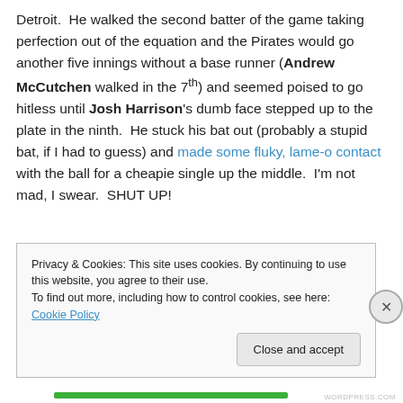Detroit.  He walked the second batter of the game taking perfection out of the equation and the Pirates would go another five innings without a base runner (Andrew McCutchen walked in the 7th) and seemed poised to go hitless until Josh Harrison's dumb face stepped up to the plate in the ninth.  He stuck his bat out (probably a stupid bat, if I had to guess) and made some fluky, lame-o contact with the ball for a cheapie single up the middle.  I'm not mad, I swear.  SHUT UP!
Privacy & Cookies: This site uses cookies. By continuing to use this website, you agree to their use. To find out more, including how to control cookies, see here: Cookie Policy